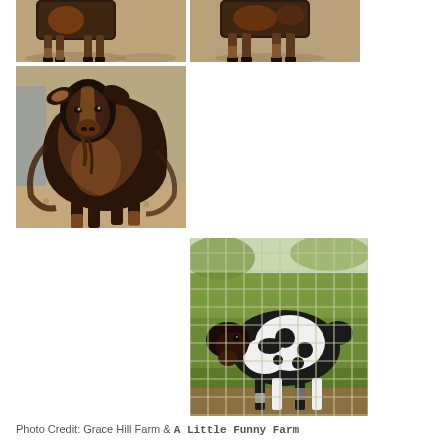[Figure (photo): Top-left photo: close-up of goat legs and lower body on dirt ground, brown/black coloring]
[Figure (photo): Top-right photo: close-up of goat legs and lower body on dirt ground, brown/black coloring]
[Figure (photo): Middle-left photo: large portrait of a Nigerian Dwarf or similar goat with long dark/brown fur, facing camera, on dirt ground]
[Figure (photo): Bottom-right photo: black and white spotted goat behind a wire grid fence, green grass background]
Photo Credit: Grace Hill Farm & A Little Funny Farm